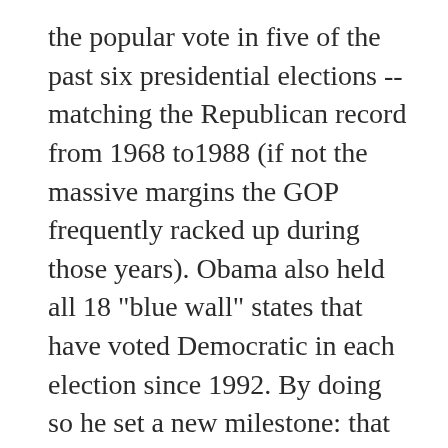the popular vote in five of the past six presidential elections -- matching the Republican record from 1968 to1988 (if not the massive margins the GOP frequently racked up during those years). Obama also held all 18 "blue wall" states that have voted Democratic in each election since 1992. By doing so he set a new milestone: that is the most states Democrats have won that often since the formation of the modern party system in 1828.